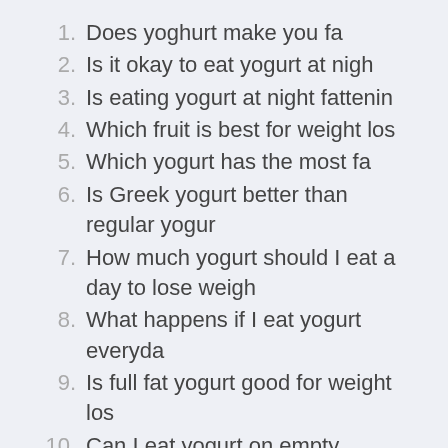1. Does yoghurt make you fa
2. Is it okay to eat yogurt at nigh
3. Is eating yogurt at night fattenin
4. Which fruit is best for weight los
5. Which yogurt has the most fa
6. Is Greek yogurt better than regular yogur
7. How much yogurt should I eat a day to lose weigh
8. What happens if I eat yogurt everyda
9. Is full fat yogurt good for weight los
10. Can I eat yogurt on empty stomac